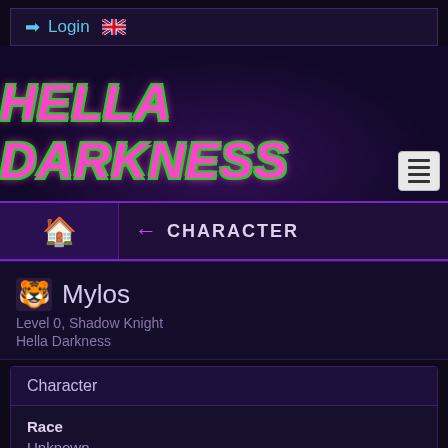Login 🇬🇧
HELLA DARKNESS
← CHARACTER
Mylos
Level 0, Shadow Knight
Hella Darkness
| Field | Value |
| --- | --- |
| Race | Unknown |